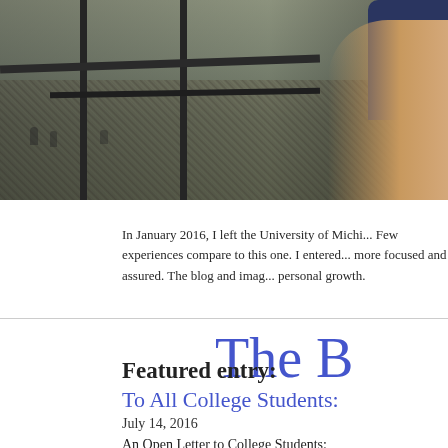[Figure (photo): A person in a dark navy shirt holding metal scaffolding or railing bars at an archaeological or construction site, with rubble/stone debris visible below]
In January 2016, I left the University of Michi... Few experiences compare to this one. I entered... more focused and assured. The blog and imag... personal growth.
The B
Featured entry:
To All College Students:
July 14, 2016
An Open Letter to College Students: